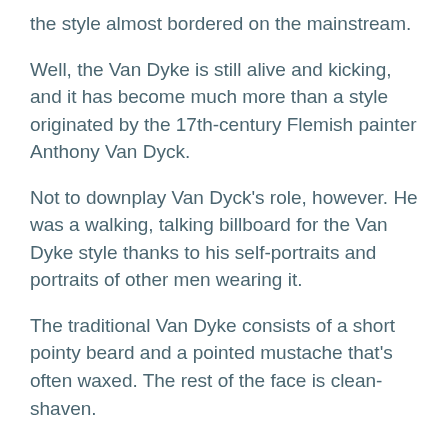the style almost bordered on the mainstream.
Well, the Van Dyke is still alive and kicking, and it has become much more than a style originated by the 17th-century Flemish painter Anthony Van Dyck.
Not to downplay Van Dyck’s role, however. He was a walking, talking billboard for the Van Dyke style thanks to his self-portraits and portraits of other men wearing it.
The traditional Van Dyke consists of a short pointy beard and a pointed mustache that’s often waxed. The rest of the face is clean-shaven.
Contents [hide]